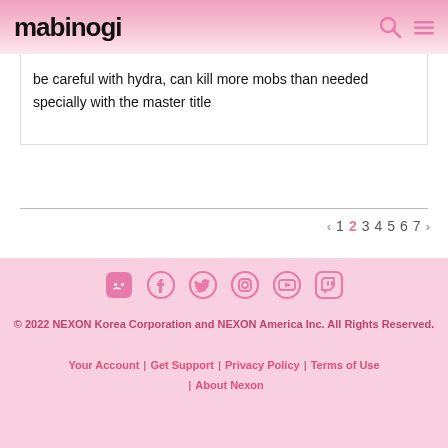mabinogi
be careful with hydra, can kill more mobs than needed specially with the master title
< 1 2 3 4 5 6 7 >
[Figure (logo): Social media icons: Discord, Facebook, Twitter, Instagram, YouTube, Twitch]
© 2022 NEXON Korea Corporation and NEXON America Inc. All Rights Reserved.
Your Account | Get Support | Privacy Policy | Terms of Use | About Nexon